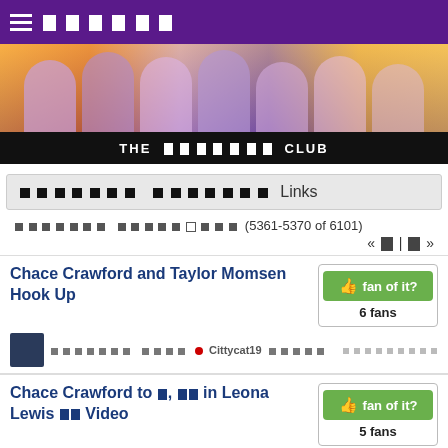≡ ██████
[Figure (photo): Banner image showing cast of a TV show (multiple people) against a city skyline backdrop with warm orange/purple tones]
THE ███████ CLUB
███████ ███████ Links
███████ █████·███ (5361-5370 of 6101)
« █ | █ »
Chace Crawford and Taylor Momsen Hook Up
fan of it? 6 fans
███████ ████ • Cittycat19 █████
█████████
Chace Crawford to █, ██ in Leona Lewis ██ Video
fan of it? 5 fans
███████ ████ • Cittycat19 █████
█████████